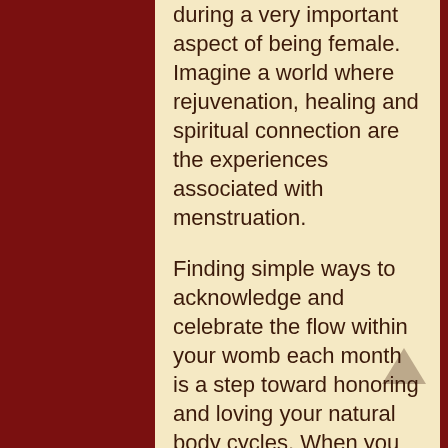during a very important aspect of being female. Imagine a world where rejuvenation, healing and spiritual connection are the experiences associated with menstruation.
Finding simple ways to acknowledge and celebrate the flow within your womb each month is a step toward honoring and loving your natural body cycles. When you love and care for your body, you experience your cycles from a more empowered context. Your monthly cycle becomes your ally, a guide to healing and balance.
Making a special herbal tea during your moontime is a great way to nourish and support yourself during menstruation. As a woman you embody the seasons and cycles of